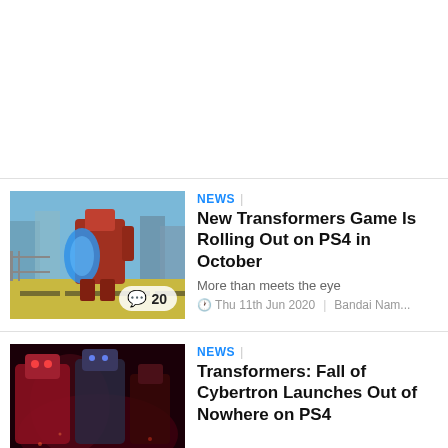[Figure (other): Blank white space at the top of the page]
[Figure (photo): Transformers game screenshot showing a robot (Optimus Prime) in a colorful city environment with yellow road markings. Comment badge shows 20 comments.]
NEWS | New Transformers Game Is Rolling Out on PS4 in October
More than meets the eye
Thu 11th Jun 2020 | Bandai Nam...
[Figure (photo): Dark dramatic artwork showing Transformers characters (Optimus Prime and others) in a battle scene for Transformers: Fall of Cybertron.]
NEWS | Transformers: Fall of Cybertron Launches Out of Nowhere on PS4